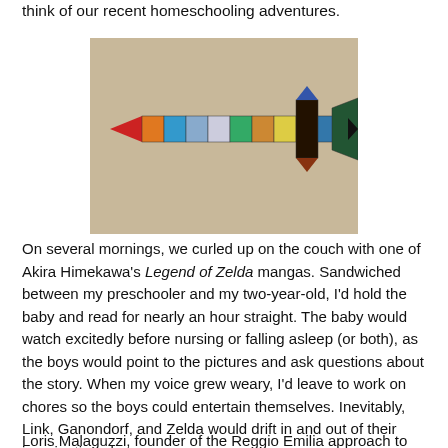think of our recent homeschooling adventures.
[Figure (photo): A colorful sword made from arranged colored squares/tiles — appears to be a craft project inspired by Legend of Zelda, photographed on a beige/tan background.]
On several mornings, we curled up on the couch with one of Akira Himekawa's Legend of Zelda mangas. Sandwiched between my preschooler and my two-year-old, I'd hold the baby and read for nearly an hour straight. The baby would watch excitedly before nursing or falling asleep (or both), as the boys would point to the pictures and ask questions about the story. When my voice grew weary, I'd leave to work on chores so the boys could entertain themselves. Inevitably, Link, Ganondorf, and Zelda would drift in and out of their imaginative play.
Loris Malaguzzi, founder of the Reggio Emilia approach to